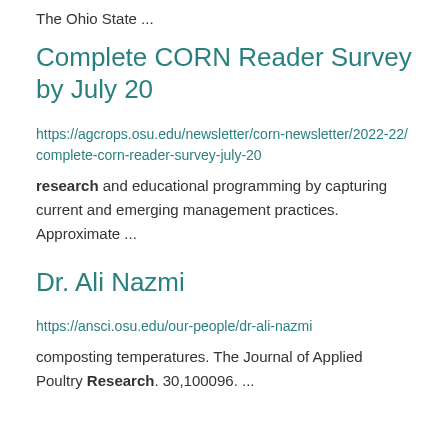The Ohio State ...
Complete CORN Reader Survey by July 20
https://agcrops.osu.edu/newsletter/corn-newsletter/2022-22/complete-corn-reader-survey-july-20
research and educational programming by capturing current and emerging management practices. Approximate ...
Dr. Ali Nazmi
https://ansci.osu.edu/our-people/dr-ali-nazmi
composting temperatures. The Journal of Applied Poultry Research. 30,100096....